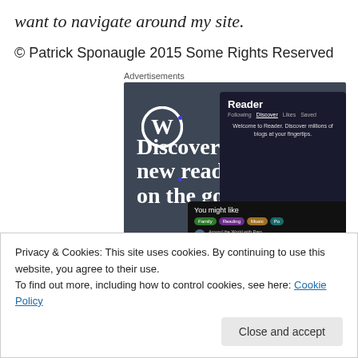want to navigate around my site.
© Patrick Sponaugle 2015 Some Rights Reserved
[Figure (screenshot): WordPress advertisement: 'Discover new reads on the go.' showing WordPress logo and Reader app interface mockup]
Privacy & Cookies: This site uses cookies. By continuing to use this website, you agree to their use.
To find out more, including how to control cookies, see here: Cookie Policy